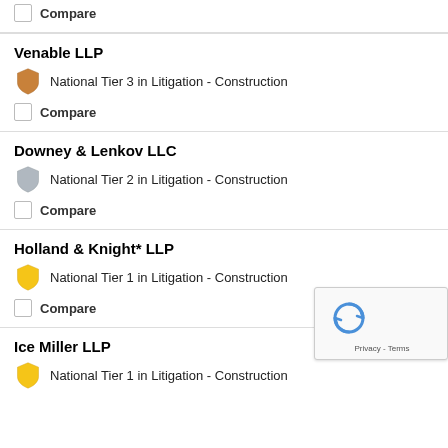Compare (top partial card)
Venable LLP
National Tier 3 in Litigation - Construction
Compare
Downey & Lenkov LLC
National Tier 2 in Litigation - Construction
Compare
Holland & Knight* LLP
National Tier 1 in Litigation - Construction
Compare
Ice Miller LLP
National Tier 1 in Litigation - Construction